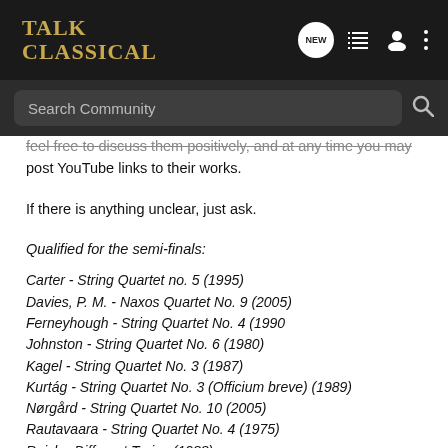TALK CLASSICAL
feel free to discuss them positively, and at any time you may post YouTube links to their works.
If there is anything unclear, just ask.
Qualified for the semi-finals:
Carter - String Quartet no. 5 (1995)
Davies, P. M. - Naxos Quartet No. 9 (2005)
Ferneyhough - String Quartet No. 4 (1990
Johnston - String Quartet No. 6 (1980)
Kagel - String Quartet No. 3 (1987)
Kurtág - String Quartet No. 3 (Officium breve) (1989)
Nørgård - String Quartet No. 10 (2005)
Rautavaara - String Quartet No. 4 (1975)
Reich - Different Trains (1988)